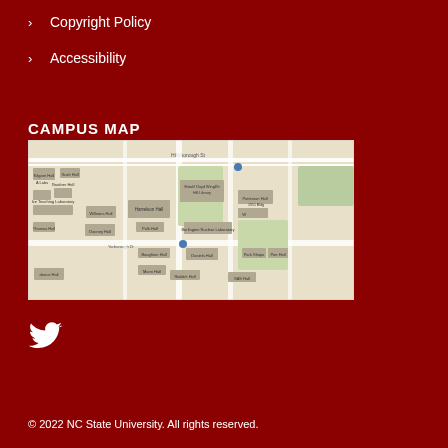Copyright Policy
Accessibility
CAMPUS MAP
[Figure (map): Campus map of NC State University showing buildings including D.H. Hill Library, Patterson Hall, Williams Hall, Daniels Hall, Polk Hall, Harrelson Hall, Burlington Nuclear Laboratory, Boughton Hall, Mann Hall, Riddick Hall, SAS Hall, and surrounding streets including Hillsborough St and Yarborough Dr.]
[Figure (logo): Twitter bird icon in white]
© 2022 NC State University. All rights reserved.